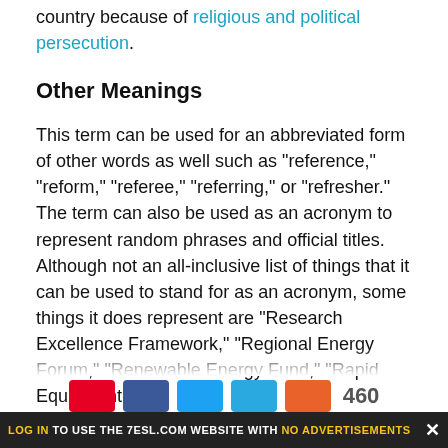country because of religious and political persecution.
Other Meanings
This term can be used for an abbreviated form of other words as well such as “reference,” “reform,” “referee,” “referring,” or “refresher.” The term can also be used as an acronym to represent random phrases and official titles. Although not an all-inclusive list of things that it can be used to stand for as an acronym, some things it does represent are “Research Excellence Framework,” “Regional Energy Forum,” “Renewable Energy Fund,” “Rapid Equipment
LOG IN TO USE THE 7ESL.COM WEBSITE WITH NO ADVERTISEMENTS